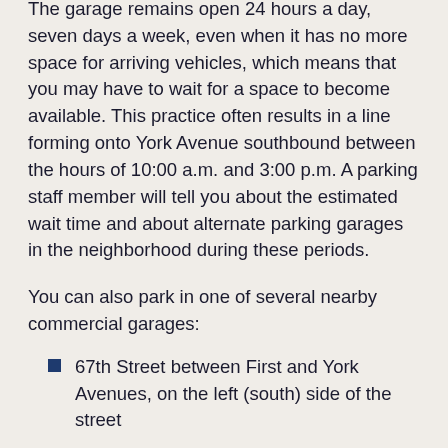The garage remains open 24 hours a day, seven days a week, even when it has no more space for arriving vehicles, which means that you may have to wait for a space to become available. This practice often results in a line forming onto York Avenue southbound between the hours of 10:00 a.m. and 3:00 p.m. A parking staff member will tell you about the estimated wait time and about alternate parking garages in the neighborhood during these periods.
You can also park in one of several nearby commercial garages:
67th Street between First and York Avenues, on the left (south) side of the street
69th Street between First and Second